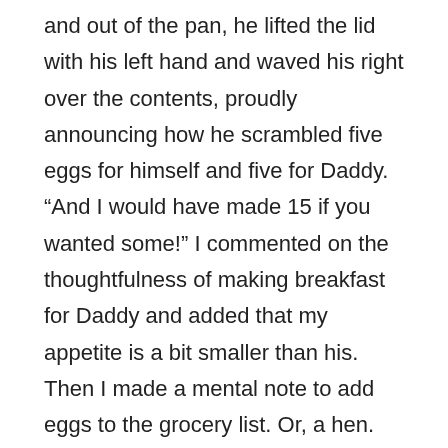and out of the pan, he lifted the lid with his left hand and waved his right over the contents, proudly announcing how he scrambled five eggs for himself and five for Daddy. “And I would have made 15 if you wanted some!” I commented on the thoughtfulness of making breakfast for Daddy and added that my appetite is a bit smaller than his. Then I made a mental note to add eggs to the grocery list. Or, a hen.
After Mike returned… Here’s where I could fast forward to the library, in order to skip over the yucky part of our day. However, I’m learning that